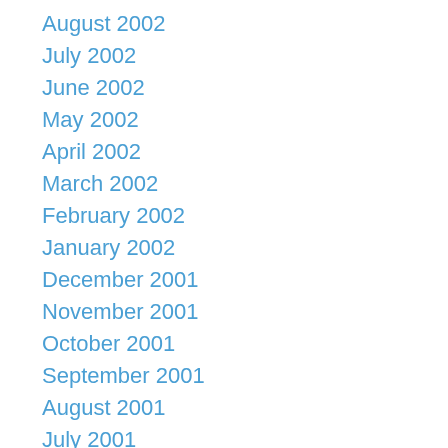August 2002
July 2002
June 2002
May 2002
April 2002
March 2002
February 2002
January 2002
December 2001
November 2001
October 2001
September 2001
August 2001
July 2001
June 2001